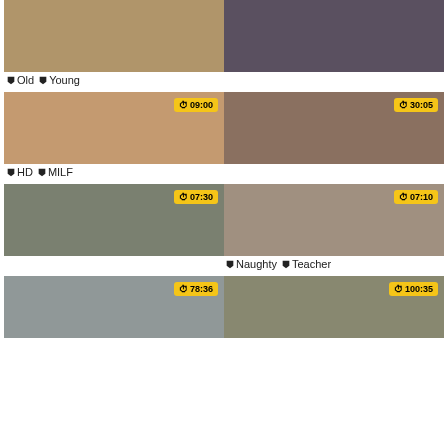[Figure (photo): Two thumbnail images in top row, partially visible at top]
Old  Young
[Figure (photo): Left thumbnail with time badge 09:00; right thumbnail with time badge 30:05]
HD  MILF
[Figure (photo): Left thumbnail with time badge 07:30; right thumbnail with time badge 07:10]
Naughty  Teacher
[Figure (photo): Bottom row partial thumbnails with time badges 78:36 and 100:35]